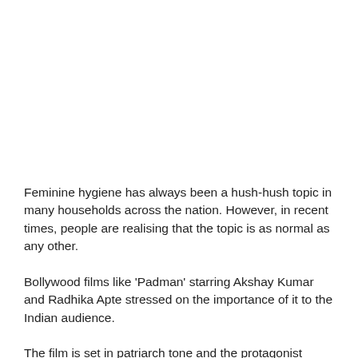Feminine hygiene has always been a hush-hush topic in many households across the nation. However, in recent times, people are realising that the topic is as normal as any other.
Bollywood films like 'Padman' starring Akshay Kumar and Radhika Apte stressed on the importance of it to the Indian audience.
The film is set in patriarch tone and the protagonist Lakshmikant Chauhan, essayed by Kumar spreads the